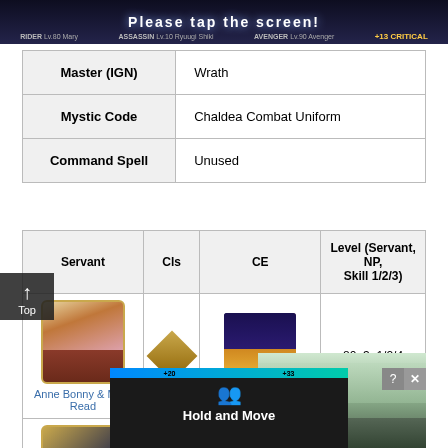[Figure (screenshot): Game UI banner showing 'Please tap the screen' with characters: RIDER Lv.80 Mary, ASSASSIN Lv.10 Ryuugi Shiki, AVENGER Lv.90 Avenger, +13 CRITICAL]
|  |  |
| --- | --- |
| Master (IGN) | Wrath |
| Mystic Code | Chaldea Combat Uniform |
| Command Spell | Unused |
| Servant | Cls | CE | Level (Servant, NP, Skill 1/2/3) |
| --- | --- | --- | --- |
| Anne Bonny & Mary Read | [Rider icon] | Kaleidoscope | 80, 3, 1/2/4 |
| [Servant 2] | [Class icon] | [CE image] | /4/5 |
[Figure (screenshot): Mobile advertisement overlay showing 'Hold and Move' app/game with blue progress bar and people icons, with dismiss X button and outdoor background photo]